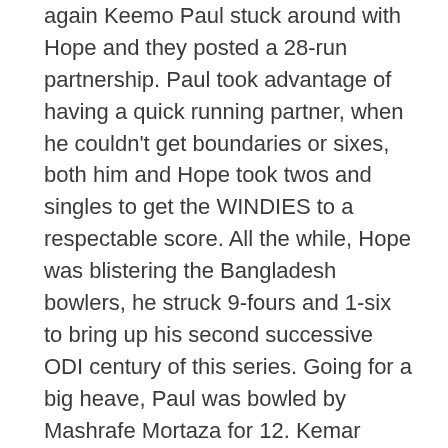again Keemo Paul stuck around with Hope and they posted a 28-run partnership. Paul took advantage of having a quick running partner, when he couldn't get boundaries or sixes, both him and Hope took twos and singles to get the WINDIES to a respectable score. All the while, Hope was blistering the Bangladesh bowlers, he struck 9-fours and 1-six to bring up his second successive ODI century of this series. Going for a big heave, Paul was bowled by Mashrafe Mortaza for 12. Kemar Roach was LBW by Mashrafe for 3. Devendra Bishoo stayed with Hope until the end of the innings, however, in the final over, Hope was struck on the front of his helmet. He sought some medical attention from the physio and batted out the innings, finishing on 108 not out.
The WINDIES 198/9 from their 50 overs. Shai Hope 108 not out, Marlon Samuels 19. Bowling for Bangladesh